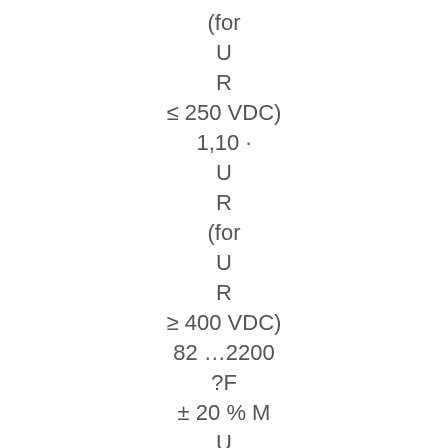(for U R ≤ 250 VDC) 1,10 · U R (for U R ≥ 400 VDC) 82 …2200 ?F ± 20 % M U